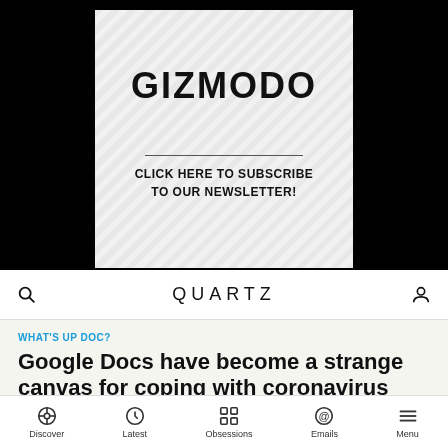[Figure (advertisement): Gizmodo newsletter subscription advertisement with diagonal stripe background pattern, large bold GIZMODO text, horizontal divider line, and text CLICK HERE TO SUBSCRIBE TO OUR NEWSLETTER!]
QUARTZ
WHAT'S UP DOC?
Google Docs have become a strange canvas for coping with coronavirus
Discover  Latest  Obsessions  Emails  Menu